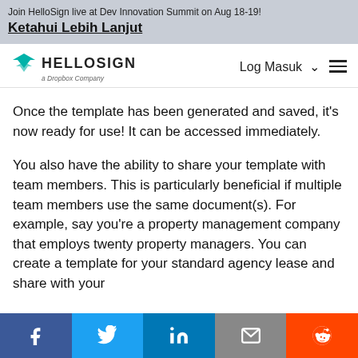Join HelloSign live at Dev Innovation Summit on Aug 18-19!
Ketahui Lebih Lanjut
[Figure (logo): HelloSign logo with teal downward chevron icon and text 'HELLOSIGN a Dropbox Company', with 'Log Masuk' navigation and hamburger menu]
Once the template has been generated and saved, it's now ready for use! It can be accessed immediately.
You also have the ability to share your template with team members. This is particularly beneficial if multiple team members use the same document(s). For example, say you're a property management company that employs twenty property managers. You can create a template for your standard agency lease and share with your
[Figure (infographic): Social share bar with Facebook, Twitter, LinkedIn, email, and Reddit buttons]